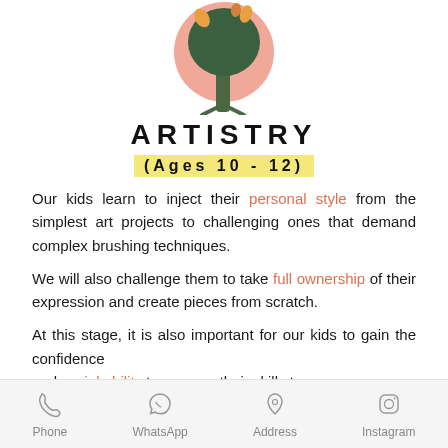[Figure (illustration): Illustrated autumn tree with pink/salmon circular background and green trunk with orange leaves at top]
ARTISTRY
(Ages 10 - 12)
Our kids learn to inject their personal style from the simplest art projects to challenging ones that demand complex brushing techniques.
We will also challenge them to take full ownership of their expression and create pieces from scratch.
At this stage, it is also important for our kids to gain the confidence and social ability to pass on their skills to
Phone   WhatsApp   Address   Instagram